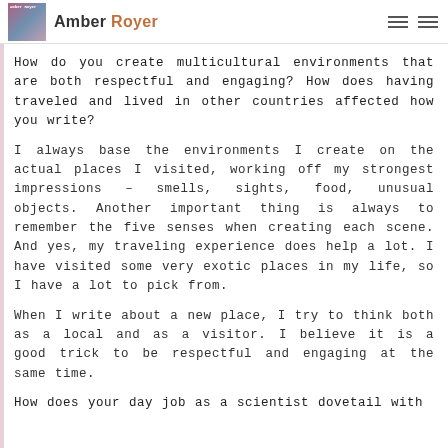Amber Royer
How do you create multicultural environments that are both respectful and engaging? How does having traveled and lived in other countries affected how you write?
I always base the environments I create on the actual places I visited, working off my strongest impressions – smells, sights, food, unusual objects. Another important thing is always to remember the five senses when creating each scene. And yes, my traveling experience does help a lot. I have visited some very exotic places in my life, so I have a lot to pick from.
When I write about a new place, I try to think both as a local and as a visitor. I believe it is a good trick to be respectful and engaging at the same time.
How does your day job as a scientist dovetail with